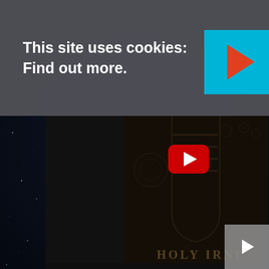This site uses cookies: Find out more.
[Figure (screenshot): Cookie consent banner with text 'This site uses cookies: Find out more.' on a dark grey background, with buttons on the right and a large cyan play button overlay in the top right corner.]
[Figure (screenshot): Embedded YouTube video showing gothic/medieval artwork with a dark left panel and illustrated right panel featuring bookshelves, gothic arches, a skull, and a cauldron. A red YouTube play button is visible. Bottom bar shows 'Watch on YouTube' text with YouTube logo. Text 'HOLY IRNI' visible at bottom of artwork.]
[Figure (screenshot): Small grey play button in bottom right corner of the page.]